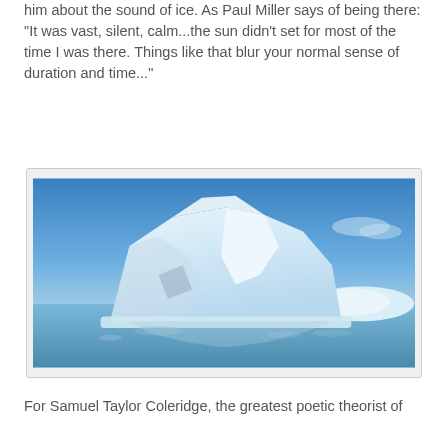him about the sound of ice. As Paul Miller says of being there: "It was vast, silent, calm...the sun didn't set for most of the time I was there. Things like that blur your normal sense of duration and time..."
[Figure (photo): A large white iceberg floating in icy water under a bright blue sky, with smaller ice chunks visible around its base and a faint reflection in the water below.]
For Samuel Taylor Coleridge, the greatest poetic theorist of